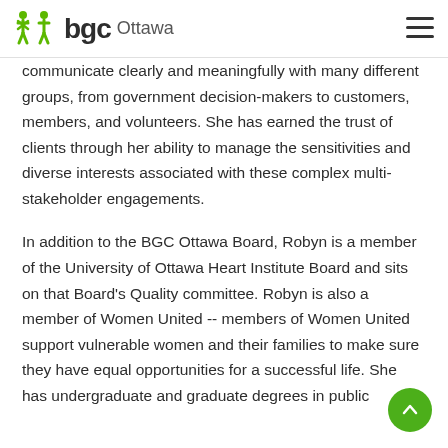BGC Ottawa
communicate clearly and meaningfully with many different groups, from government decision-makers to customers, members, and volunteers. She has earned the trust of clients through her ability to manage the sensitivities and diverse interests associated with these complex multi-stakeholder engagements.
In addition to the BGC Ottawa Board, Robyn is a member of the University of Ottawa Heart Institute Board and sits on that Board's Quality committee. Robyn is also a member of Women United -- members of Women United support vulnerable women and their families to make sure they have equal opportunities for a successful life. She has undergraduate and graduate degrees in public